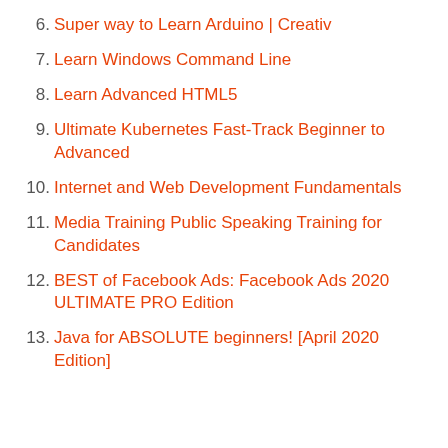6. Super way to Learn Arduino | Creativ
7. Learn Windows Command Line
8. Learn Advanced HTML5
9. Ultimate Kubernetes Fast-Track Beginner to Advanced
10. Internet and Web Development Fundamentals
11. Media Training Public Speaking Training for Candidates
12. BEST of Facebook Ads: Facebook Ads 2020 ULTIMATE PRO Edition
13. Java for ABSOLUTE beginners! [April 2020 Edition]